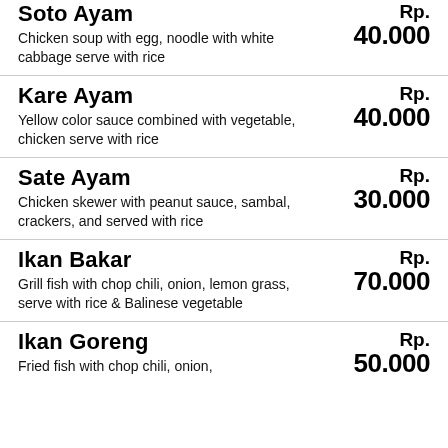Soto Ayam
Chicken soup with egg, noodle with white cabbage serve with rice
Rp. 40.000
Kare Ayam
Yellow color sauce combined with vegetable, chicken serve with rice
Rp. 40.000
Sate Ayam
Chicken skewer with peanut sauce, sambal, crackers, and served with rice
Rp. 30.000
Ikan Bakar
Grill fish with chop chili, onion, lemon grass, serve with rice & Balinese vegetable
Rp. 70.000
Ikan Goreng
Fried fish with chop chili, onion...
Rp. 50.000